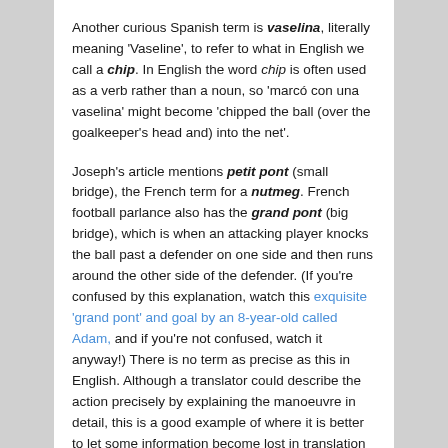Another curious Spanish term is vaselina, literally meaning 'Vaseline', to refer to what in English we call a chip. In English the word chip is often used as a verb rather than a noun, so 'marcó con una vaselina' might become 'chipped the ball (over the goalkeeper's head and) into the net'.
Joseph's article mentions petit pont (small bridge), the French term for a nutmeg. French football parlance also has the grand pont (big bridge), which is when an attacking player knocks the ball past a defender on one side and then runs around the other side of the defender. (If you're confused by this explanation, watch this exquisite 'grand pont' and goal by an 8-year-old called Adam, and if you're not confused, watch it anyway!) There is no term as precise as this in English. Although a translator could describe the action precisely by explaining the manoeuvre in detail, this is a good example of where it is better to let some information become lost in translation in the interest of maintaining good style (e.g.